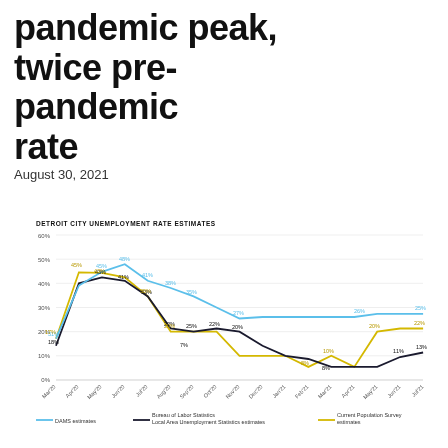pandemic peak, twice pre-pandemic rate
August 30, 2021
[Figure (line-chart): DETROIT CITY UNEMPLOYMENT RATE ESTIMATES]